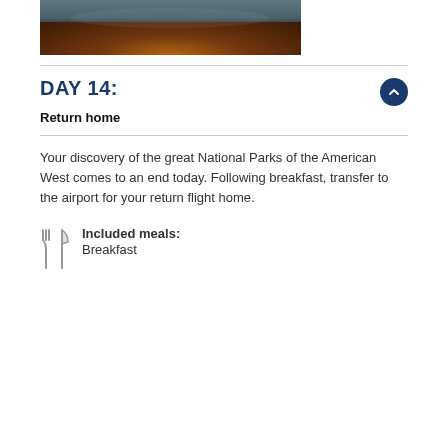[Figure (photo): Partial photo of a canyon waterfall with orange/amber rock illumination and mist, cropped at top]
DAY 14:
Return home
Your discovery of the great National Parks of the American West comes to an end today. Following breakfast, transfer to the airport for your return flight home.
Included meals:
Breakfast